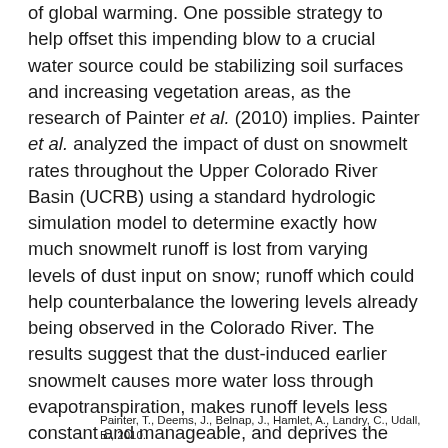of global warming. One possible strategy to help offset this impending blow to a crucial water source could be stabilizing soil surfaces and increasing vegetation areas, as the research of Painter et al. (2010) implies. Painter et al. analyzed the impact of dust on snowmelt rates throughout the Upper Colorado River Basin (UCRB) using a standard hydrologic simulation model to determine exactly how much snowmelt runoff is lost from varying levels of dust input on snow; runoff which could help counterbalance the lowering levels already being observed in the Colorado River. The results suggest that the dust-induced earlier snowmelt causes more water loss through evapotranspiration, makes runoff levels less constant and manageable, and deprives the region of substantial runoff in July, which could impede riparian vegetation health and fish survival and place further undue stress on the Colorado Basin reservoir in late-summer.–Elise Wanger
Painter, T., Deems, J., Belnap, J., Hamlet, A., Landry, C., Udall, B., 2010.